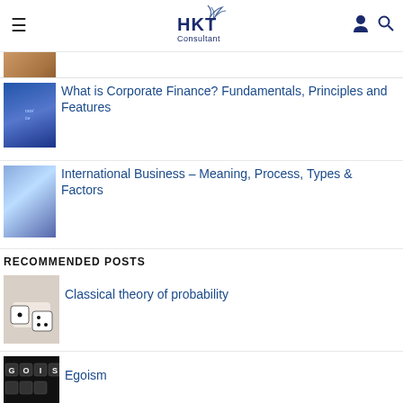HKT Consultant
[Figure (photo): Thumbnail image partially visible at top (cropped)]
[Figure (photo): Thumbnail image of corporate finance related graphic]
What is Corporate Finance? Fundamentals, Principles and Features
[Figure (photo): Thumbnail image of international business graphic]
International Business – Meaning, Process, Types & Factors
RECOMMENDED POSTS
[Figure (photo): Thumbnail image of dice for classical probability]
Classical theory of probability
[Figure (photo): Thumbnail image with letter tiles spelling GOIS for Egoism]
Egoism